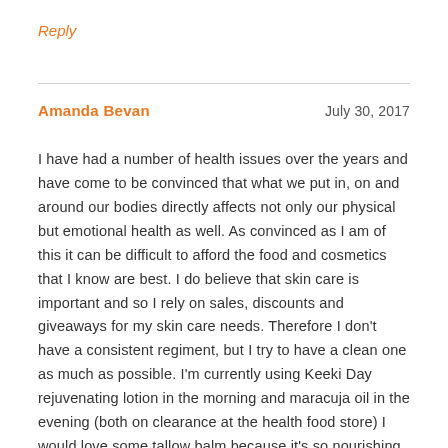Reply
Amanda Bevan
July 30, 2017
I have had a number of health issues over the years and have come to be convinced that what we put in, on and around our bodies directly affects not only our physical but emotional health as well. As convinced as I am of this it can be difficult to afford the food and cosmetics that I know are best. I do believe that skin care is important and so I rely on sales, discounts and giveaways for my skin care needs. Therefore I don't have a consistent regiment, but I try to have a clean one as much as possible. I'm currently using Keeki Day rejuvenating lotion in the morning and maracuja oil in the evening (both on clearance at the health food store) I would love some tallow balm because it's so nourishing and will not only make my outsides happy but my